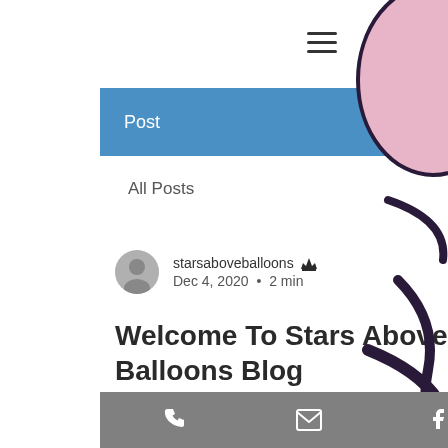[Figure (screenshot): Hamburger menu icon (three horizontal lines) in top center-right area]
Post   🔍   Sign Up
All Posts
starsaboveballoons 👑  Dec 4, 2020  •  2 min
Welcome To Stars Above Balloons Blog
Updated: Dec 11, 2020
Hello There!
[Figure (illustration): Partial balloon illustration on the right side — pink balloon shape and dark navy decorative swirl elements]
Phone  Email  Facebook  Instagram